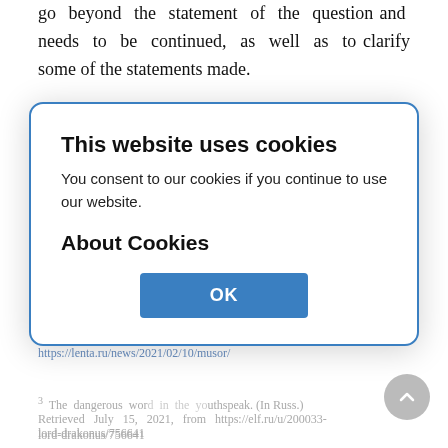go beyond the statement of the question and needs to be continued, as well as to clarify some of the statements made.
1 Nurmagomedov called McGregor a trash of humanity. (In Russ.) Retrieved July 15, 2021, from https://sport.ru/mma/ja-schitaju-nurmagomedov-nazval-
2 Russian-speaking residents of Estonia were called a human trash. (In Russ.) Retrieved July 15, 2021, from https://lenta.ru/news/2021/02/10/musor/
3 The dangerous word in the youthspeak. (In Russ.) Retrieved July 15, 2021, from https://elf.ru/u/200033-lord-drakonus/756641
4 "Rogue states" and international security. (In Russ.) Retrieved July 15, 2021, from
This website uses cookies
You consent to our cookies if you continue to use our website.
About Cookies
OK